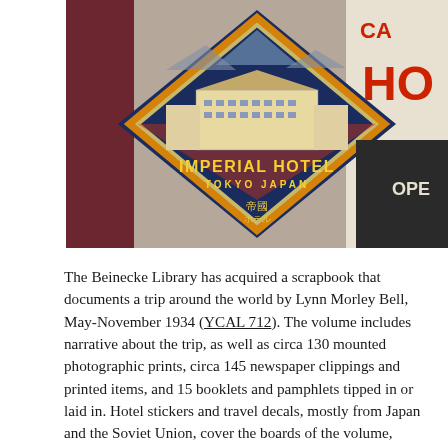[Figure (photo): A photograph showing hotel luggage stickers/travel decals. The prominent one in the center-left is a diamond-shaped label for 'IMPERIAL HOTEL TOKYO JAPAN' featuring an illustrated view of the hotel complex with mountains behind it, in navy blue, orange, and gold. To the right are partial views of other hotel labels in red and white, including one that shows 'CA...' and 'HO...' text.]
The Beinecke Library has acquired a scrapbook that documents a trip around the world by Lynn Morley Bell, May-November 1934 (YCAL 712). The volume includes narrative about the trip, as well as circa 130 mounted photographic prints, circa 145 newspaper clippings and printed items, and 15 booklets and pamphlets tipped in or laid in. Hotel stickers and travel decals, mostly from Japan and the Soviet Union, cover the boards of the volume, while the rear pastedown includes 11 photographs of United States consulates or locations